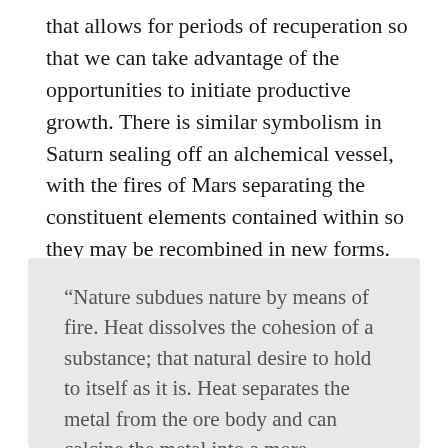that allows for periods of recuperation so that we can take advantage of the opportunities to initiate productive growth. There is similar symbolism in Saturn sealing off an alchemical vessel, with the fires of Mars separating the constituent elements contained within so they may be recombined in new forms. As James Hillman wrote in Alchemical Psychology:
“Nature subdues nature by means of fire. Heat dissolves the cohesion of a substance; that natural desire to hold to itself as it is. Heat separates the metal from the ore body and can calcine the metal into a more workable condition. In the only-natural state, the substances